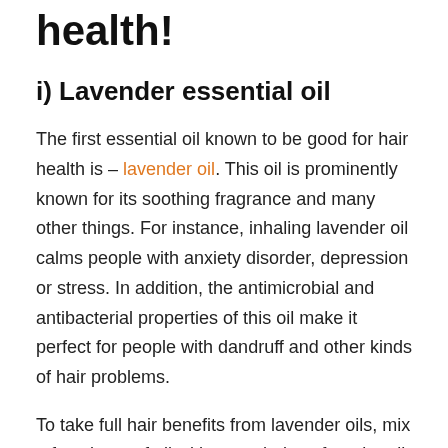health!
i) Lavender essential oil
The first essential oil known to be good for hair health is – lavender oil. This oil is prominently known for its soothing fragrance and many other things. For instance, inhaling lavender oil calms people with anxiety disorder, depression or stress. In addition, the antimicrobial and antibacterial properties of this oil make it perfect for people with dandruff and other kinds of hair problems.
To take full hair benefits from lavender oils, mix a few drops of oil with your choice of carrier oil and massage your head with it. Leave this oil in your hair for at least 10 minutes. This will allow the oil to get absorbed into your hair, after which